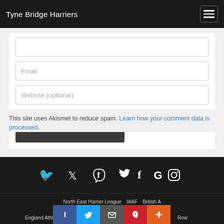Tyne Bridge Harriers
Email
Website (optional)
Submit Comment
This site uses Akismet to reduce spam. Learn how your comment data is processed.
[Figure (infographic): Social media icons bar: Twitter, Facebook, Google, Instagram in white on dark background]
North East Harrier League   IAAF   British A
England Athletics   Northern Athletics   Row